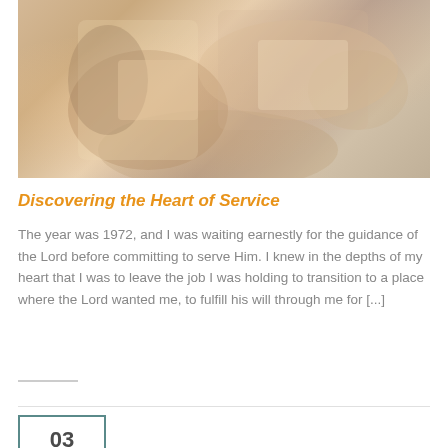[Figure (photo): Close-up photo of people reading books or documents, with warm blurred tones, appearing to show a study or Bible reading scene]
Discovering the Heart of Service
The year was 1972, and I was waiting earnestly for the guidance of the Lord before committing to serve Him. I knew in the depths of my heart that I was to leave the job I was holding to transition to a place where the Lord wanted me, to fulfill his will through me for [...]
03 DEC